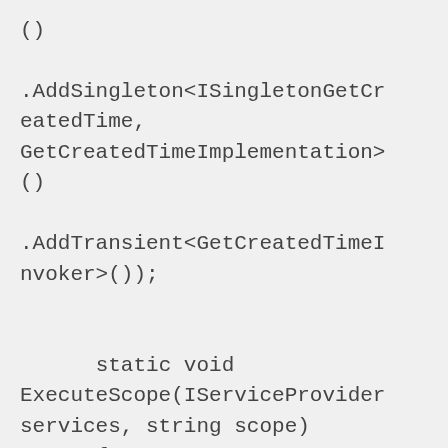()

.AddSingleton<ISingletonGetCreatedTime,
GetCreatedTimeImplementation>()

.AddTransient<GetCreatedTimeInvoker>());


        static void ExecuteScope(IServiceProvider services, string scope)
        {
            using IServiceScope serviceScope =
            services.CreateScope();
            IServiceProvider provider =